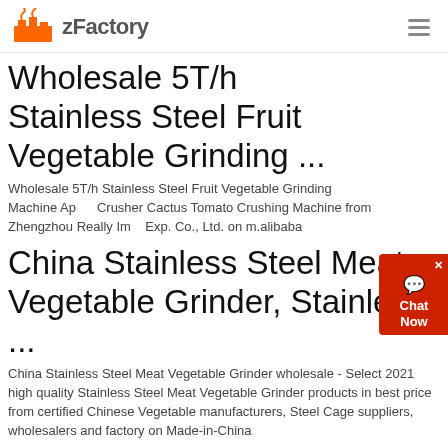zFactory
Wholesale 5T/h Stainless Steel Fruit Vegetable Grinding ...
Wholesale 5T/h Stainless Steel Fruit Vegetable Grinding Machine Apple Crusher Cactus Tomato Crushing Machine from Zhengzhou Really Imp. Exp. Co., Ltd. on m.alibaba
China Stainless Steel Meat Vegetable Grinder, Stainless ...
China Stainless Steel Meat Vegetable Grinder wholesale - Select 2021 high quality Stainless Steel Meat Vegetable Grinder products in best price from certified Chinese Vegetable manufacturers, Steel Cage suppliers, wholesalers and factory on Made-in-China
Grinder Sausage Mixer Grinding Food Professor